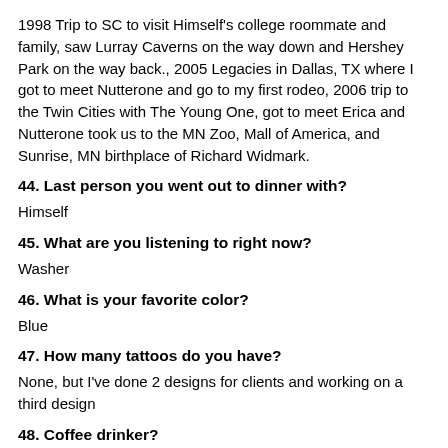1998 Trip to SC to visit Himself's college roommate and family, saw Lurray Caverns on the way down and Hershey Park on the way back., 2005 Legacies in Dallas, TX where I got to meet Nutterone and go to my first rodeo, 2006 trip to the Twin Cities with The Young One, got to meet Erica and Nutterone took us to the MN Zoo, Mall of America, and Sunrise, MN birthplace of Richard Widmark.
44. Last person you went out to dinner with?
Himself
45. What are you listening to right now?
Washer
46. What is your favorite color?
Blue
47. How many tattoos do you have?
None, but I've done 2 designs for clients and working on a third design
48. Coffee drinker?